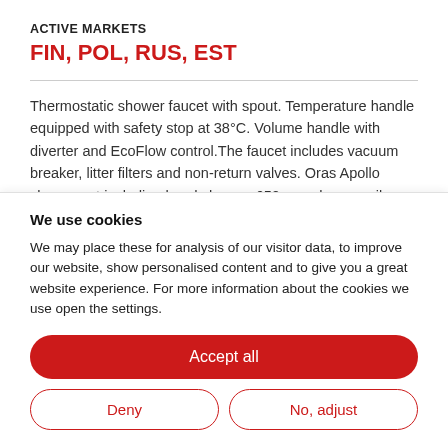ACTIVE MARKETS
FIN, POL, RUS, EST
Thermostatic shower faucet with spout. Temperature handle equipped with safety stop at 38°C. Volume handle with diverter and EcoFlow control.The faucet includes vacuum breaker, litter filters and non-return valves. Oras Apollo shower set including hand shower, 650 mm shower rail, soap tray and 1500 mm shower
We use cookies
We may place these for analysis of our visitor data, to improve our website, show personalised content and to give you a great website experience. For more information about the cookies we use open the settings.
Accept all
Deny
No, adjust